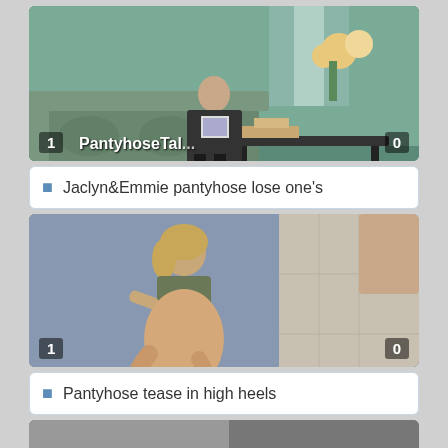[Figure (photo): Video thumbnail showing a woman in dark clothes sitting on a floral sofa reading, with a coffee table visible. Overlaid text: 'PantyhoseTal...' with vote counts 1 and 0.]
Jaclyn&Emmie pantyhose lose one's
[Figure (photo): Video thumbnail showing a woman in a bikini top and pantyhose posing on a bed/floor. Vote counts 1 and 0 overlaid.]
Pantyhose tease in high heels
[Figure (photo): Partial video thumbnail visible at bottom of page.]